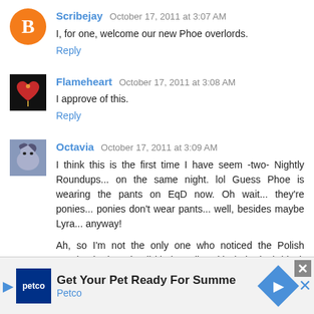Scribejay  October 17, 2011 at 3:07 AM
I, for one, welcome our new Phoe overlords.
Reply
Flameheart  October 17, 2011 at 3:08 AM
I approve of this.
Reply
Octavia  October 17, 2011 at 3:09 AM
I think this is the first time I have seem -two- Nightly Roundups... on the same night. lol Guess Phoe is wearing the pants on EqD now. Oh wait... they're ponies... ponies don't wear pants... well, besides maybe Lyra... anyway!

Ah, so I'm not the only one who noticed the Polish Bronies in that pic all kinda stylin' with their sleek black clothing and leather coats. :P
[Figure (screenshot): Ad banner for Petco: 'Get Your Pet Ready For Summe' with Petco logo, navigation arrow, and close button]